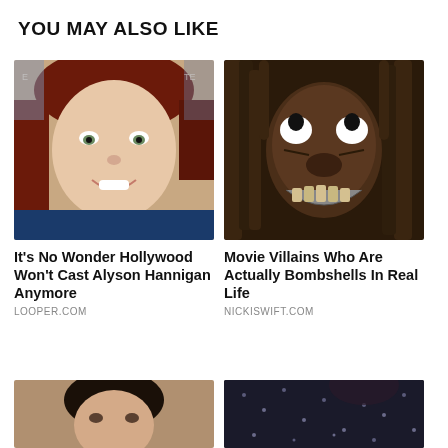YOU MAY ALSO LIKE
[Figure (photo): Portrait photo of Alyson Hannigan, a woman with auburn/red hair, smiling at camera against a blurred background]
It's No Wonder Hollywood Won't Cast Alyson Hannigan Anymore
LOOPER.COM
[Figure (photo): Photo of a person in horror movie villain makeup with dreadlocks and exaggerated facial features, teeth visible, dark styling]
Movie Villains Who Are Actually Bombshells In Real Life
NICKISWIFT.COM
[Figure (photo): Partial photo at bottom left, person with short dark hair, partially visible]
[Figure (photo): Partial photo at bottom right, person in dark sparkly/sequin clothing, partially visible]